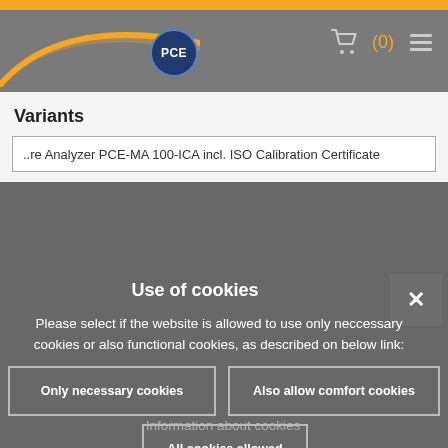[Figure (screenshot): PCE website navigation bar with logo curve, PCE badge, shopping cart icon with (0) count, and hamburger menu icon on gray background]
Variants
..re Analyzer PCE-MA 100-ICA incl. ISO Calibration Certificate
Use of cookies
Please select if the website is allowed to use only neccessary cookies or also functional cookies, as described on below link:
Information about cookies
Only necessary cookies
Also allow comfort cookies
All cookies allowed